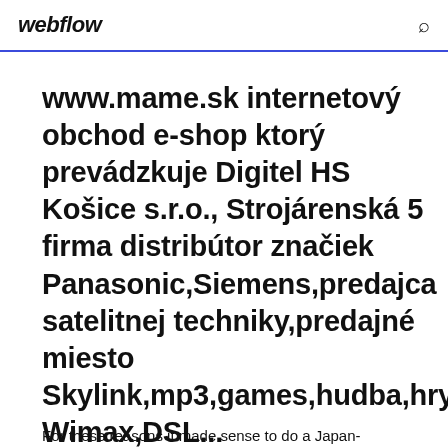webflow
www.mame.sk internetový obchod e-shop ktorý prevádzkuje Digitel HS Košice s.r.o., Strojárenská 5 firma distribútor značiek Panasonic,Siemens,predajca satelitnej techniky,predajné miesto Skylink,mp3,games,hudba,hry,interne Wimax,DSL...
For these reasons it made sense to do a Japan-